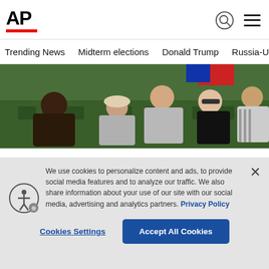AP
Trending News  Midterm elections  Donald Trump  Russia-Ukr
[Figure (photo): Crowd of spectators seated in green stadium seats, likely at Wimbledon tennis tournament]
The usual trophies and prize money will be on the line
We use cookies to personalize content and ads, to provide social media features and to analyze our traffic. We also share information about your use of our site with our social media, advertising and analytics partners. Privacy Policy
Cookies Settings  Accept All Cookies